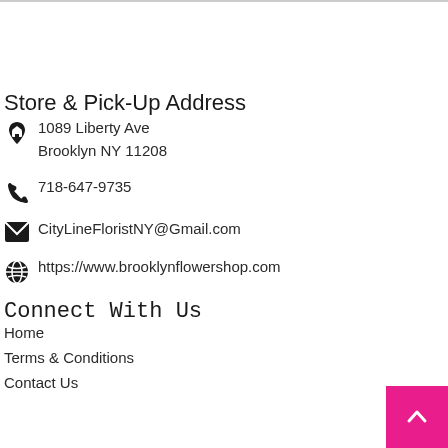Store & Pick-Up Address
1089 Liberty Ave
Brooklyn NY 11208
718-647-9735
CityLineFloristNY@Gmail.com
https://www.brooklynflowershop.com
Connect With Us
Home
Terms & Conditions
Contact Us